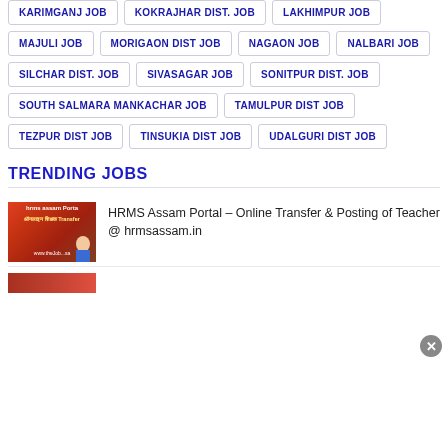KARIMGANJ JOB
KOKRAJHAR DIST. JOB
LAKHIMPUR JOB
MAJULI JOB
MORIGAON DIST JOB
NAGAON JOB
NALBARI JOB
SILCHAR DIST. JOB
SIVASAGAR JOB
SONITPUR DIST. JOB
SOUTH SALMARA MANKACHAR JOB
TAMULPUR DIST JOB
TEZPUR DIST JOB
TINSUKIA DIST JOB
UDALGURI DIST JOB
TRENDING JOBS
[Figure (photo): Thumbnail image for HRMS Assam Portal article showing text 'hrms assam Portal' and 'ऑनलाइन शिक्षक Transfer' with a person's photo, and www.theJob...sa watermark]
HRMS Assam Portal – Online Transfer & Posting of Teacher @ hrmsassam.in